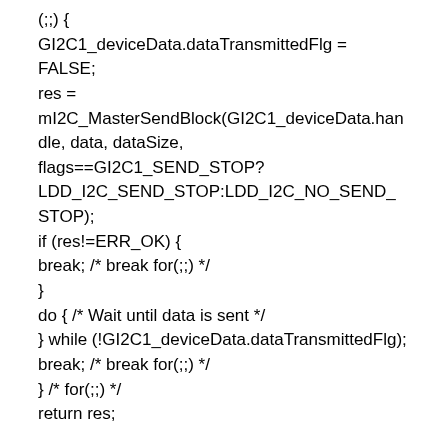(;;) {
GI2C1_deviceData.dataTransmittedFlg =
FALSE;
res =
mI2C_MasterSendBlock(GI2C1_deviceData.handle, data, dataSize,
flags==GI2C1_SEND_STOP?
LDD_I2C_SEND_STOP:LDD_I2C_NO_SEND_STOP);
if (res!=ERR_OK) {
break; /* break for(;;) */
}
do { /* Wait until data is sent */
} while (!GI2C1_deviceData.dataTransmittedFlg);
break; /* break for(;;) */
} /* for(;;) */
return res;